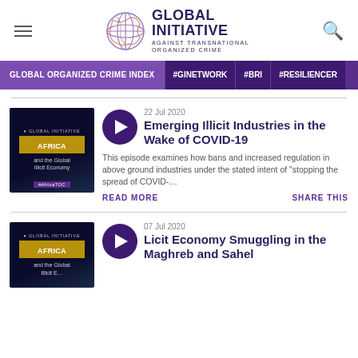Global Initiative Against Transnational Organized Crime
GLOBAL ORGANIZED CRIME INDEX | #GINETWORK | #BRI | #RESILIENCER
Emerging Illicit Industries in the Wake of COVID-19
22 Jul 2020
This episode examines how bans and increased regulation in above ground industries under the stated intent of "stopping the spread of COVID-...
READ MORE
SHARE THIS
Licit Economy Smuggling in the Maghreb and Sahel